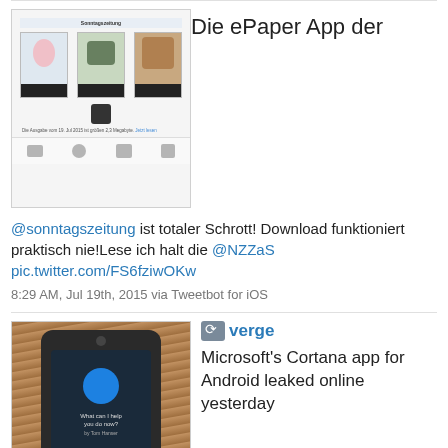[Figure (screenshot): Screenshot of ePaper app showing three newspaper cover thumbnails with a dark toolbar at bottom]
Die ePaper App der
@sonntagszeitung ist totaler Schrott! Download funktioniert praktisch nie!Lese ich halt die @NZZaS pic.twitter.com/FS6fziwOKw
8:29 AM, Jul 19th, 2015 via Tweetbot for iOS
[Figure (photo): Photo of a smartphone on a wooden table showing Cortana app screen with blue circle and 'What can I help you do now?' text]
verge Microsoft's Cortana app for Android leaked online yesterday